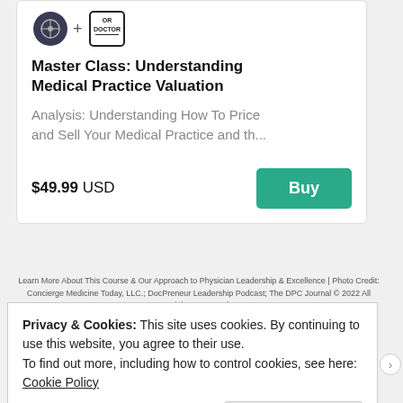[Figure (logo): Two logos: a dark circular podcast logo and a square OR Doctor logo connected with a plus sign]
Master Class: Understanding Medical Practice Valuation
Analysis: Understanding How To Price and Sell Your Medical Practice and th...
$49.99 USD
Buy
Learn More About This Course & Our Approach to Physician Leadership & Excellence | Photo Credit: Concierge Medicine Today, LLC.; DocPreneur Leadership Podcast; The DPC Journal © 2022 All Rights Reserved
Privacy & Cookies: This site uses cookies. By continuing to use this website, you agree to their use.
To find out more, including how to control cookies, see here: Cookie Policy
Close and accept